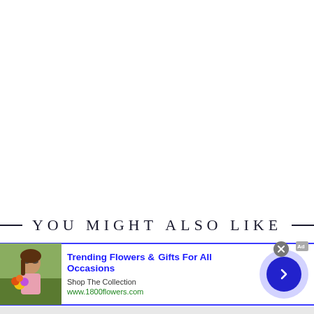YOU MIGHT ALSO LIKE
[Figure (infographic): Advertisement banner for 1800flowers.com showing a woman holding flowers, with heading 'Trending Flowers & Gifts For All Occasions', subtext 'Shop The Collection', URL 'www.1800flowers.com', and a blue arrow button on the right]